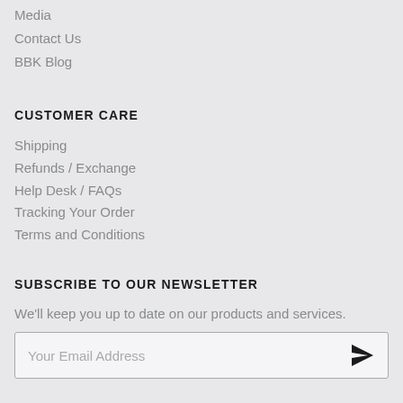Media
Contact Us
BBK Blog
CUSTOMER CARE
Shipping
Refunds / Exchange
Help Desk / FAQs
Tracking Your Order
Terms and Conditions
SUBSCRIBE TO OUR NEWSLETTER
We'll keep you up to date on our products and services.
Your Email Address